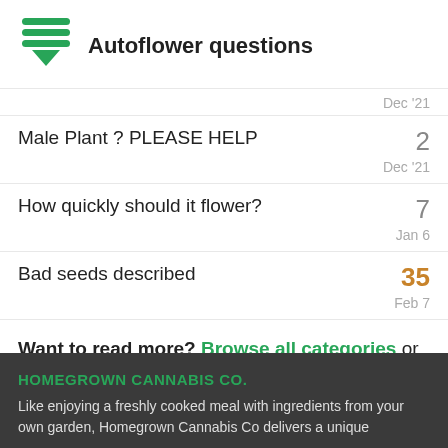Autoflower questions
Dec '21
Male Plant ? PLEASE HELP
2
Dec '21
How quickly should it flower?
7
Jan 6
Bad seeds described
35
Feb 7
Want to read more? Browse all categories or view latest topics.
HOMEGROWN CANNABIS CO.
Like enjoying a freshly cooked meal with ingredients from your own garden, Homegrown Cannabis Co delivers a unique